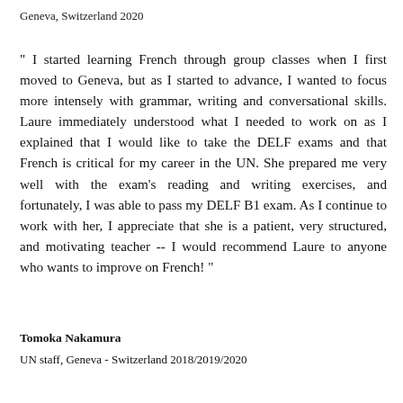Geneva, Switzerland 2020
" I started learning French through group classes when I first moved to Geneva, but as I started to advance, I wanted to focus more intensely with grammar, writing and conversational skills. Laure immediately understood what I needed to work on as I explained that I would like to take the DELF exams and that French is critical for my career in the UN. She prepared me very well with the exam's reading and writing exercises, and fortunately, I was able to pass my DELF B1 exam. As I continue to work with her, I appreciate that she is a patient, very structured, and motivating teacher -- I would recommend Laure to anyone who wants to improve on French! "
Tomoka Nakamura
UN staff, Geneva - Switzerland 2018/2019/2020